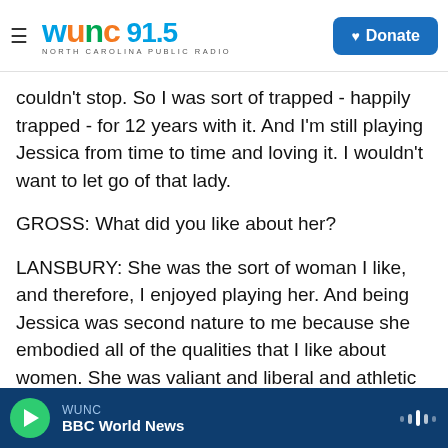WUNC 91.5 NORTH CAROLINA PUBLIC RADIO | Donate
couldn't stop. So I was sort of trapped - happily trapped - for 12 years with it. And I'm still playing Jessica from time to time and loving it. I wouldn't want to let go of that lady.
GROSS: What did you like about her?
LANSBURY: She was the sort of woman I like, and therefore, I enjoyed playing her. And being Jessica was second nature to me because she embodied all of the qualities that I like about women. She was valiant and liberal and athletic and exciting and sexy and all kinds of good stuff that women are of a
WUNC | BBC World News